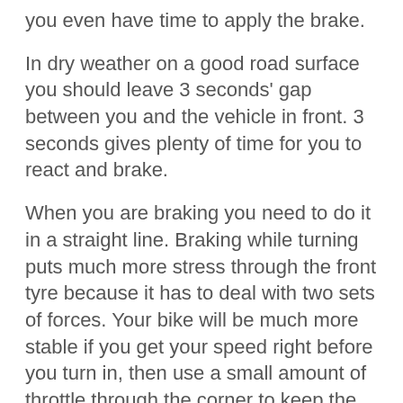you even have time to apply the brake.
In dry weather on a good road surface you should leave 3 seconds' gap between you and the vehicle in front. 3 seconds gives plenty of time for you to react and brake.
When you are braking you need to do it in a straight line. Braking while turning puts much more stress through the front tyre because it has to deal with two sets of forces. Your bike will be much more stable if you get your speed right before you turn in, then use a small amount of throttle through the corner to keep the bike balanced.
Downshifting